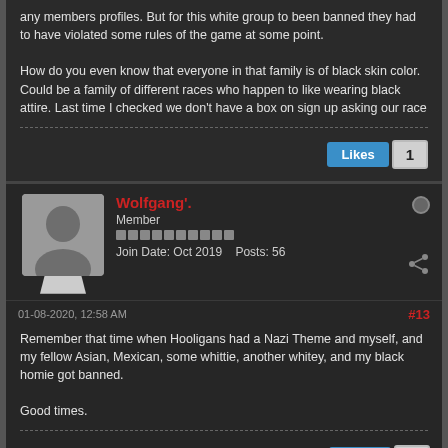any members profiles. But for this white group to been banned they had to have violated some rules of the game at some point.

How do you even know that everyone in that family is of black skin color. Could be a family of different races who happen to like wearing black attire. Last time I checked we don't have a box on sign up asking our race
Likes 1
Wolfgang'. Member Join Date: Oct 2019 Posts: 56
01-08-2020, 12:58 AM #13
Remember that time when Hooligans had a Nazi Theme and myself, and my fellow Asian, Mexican, some whittie, another whitey, and my black homie got banned.

Good times.
Likes 1